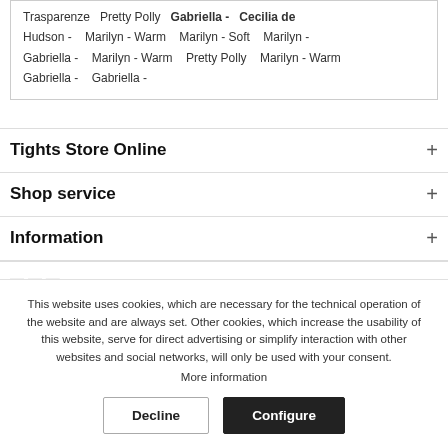Trasparenze  Pretty Polly  Gabriella -  Cecilia de Hudson -  Marilyn - Warm  Marilyn - Soft  Marilyn - Gabriella -  Marilyn - Warm  Pretty Polly  Marilyn - Warm Gabriella -  Gabriella -
Tights Store Online
Shop service
Information
This website uses cookies, which are necessary for the technical operation of the website and are always set. Other cookies, which increase the usability of this website, serve for direct advertising or simplify interaction with other websites and social networks, will only be used with your consent.
More information
Decline  Configure